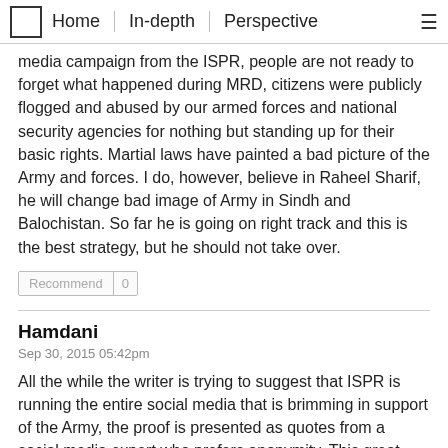Home | In-depth | Perspective
media campaign from the ISPR, people are not ready to forget what happened during MRD, citizens were publicly flogged and abused by our armed forces and national security agencies for nothing but standing up for their basic rights. Martial laws have painted a bad picture of the Army and forces. I do, however, believe in Raheel Sharif, he will change bad image of Army in Sindh and Balochistan. So far he is going on right track and this is the best strategy, but he should not take over.
Recommend | 0
Hamdani
Sep 30, 2015 05:42pm
All the while the writer is trying to suggest that ISPR is running the entire social media that is brimming in support of the Army, the proof is presented as quotes from a social media expert who prefers anonymity. This great support for the Army on the social media is the voice of Pakistam which such articles are